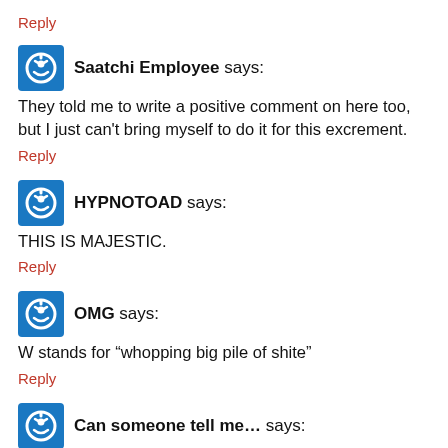Reply
Saatchi Employee says:
They told me to write a positive comment on here too, but I just can't bring myself to do it for this excrement.
Reply
HYPNOTOAD says:
THIS IS MAJESTIC.
Reply
OMG says:
W stands for “whopping big pile of shite”
Reply
Can someone tell me... says:
why is the endline “Cha-Ching”
The phrase is “Ker-Ching” or Ka-Ching”